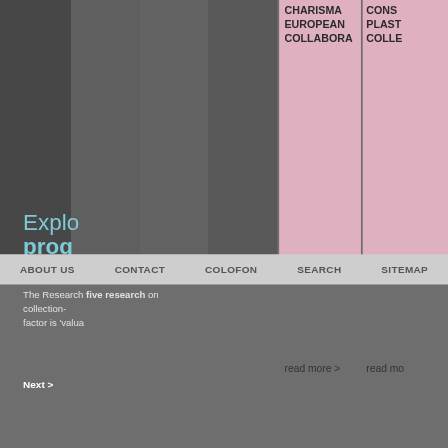[Figure (screenshot): Website screenshot showing a research program page with dark grey column layout on the left side and pink panels on the right. Contains partial text blocks, navigation footer, and circular images.]
Explo prog
The Research five research on collection- factor is 'valua
Next >
CHARISMA EUROPEAN COLLABORA
CONS PLAST COLLE
read more >
read mo
ABOUT US   CONTACT   COLOFON   SEARCH   SITEMAP